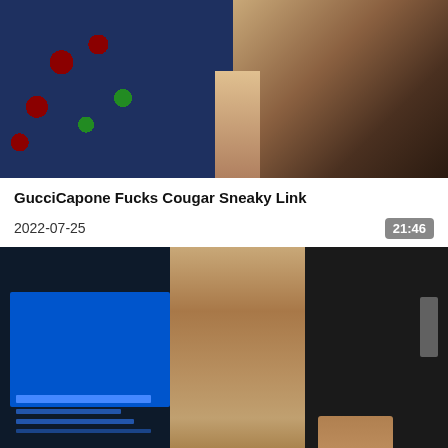[Figure (photo): Top video thumbnail showing people on a bed with floral patterned fabric]
GucciCapone Fucks Cougar Sneaky Link
2022-07-25
21:46
[Figure (photo): Bottom video thumbnail showing a person standing in front of a blue screen/monitor]